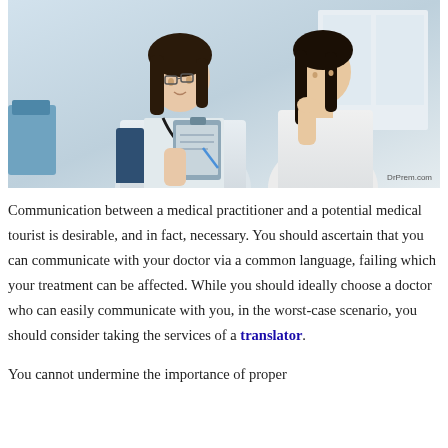[Figure (photo): A female doctor wearing a white coat and stethoscope holding a clipboard, consulting with a female patient in a bright clinical setting. Watermark reads DrPrem.com.]
Communication between a medical practitioner and a potential medical tourist is desirable, and in fact, necessary. You should ascertain that you can communicate with your doctor via a common language, failing which your treatment can be affected. While you should ideally choose a doctor who can easily communicate with you, in the worst-case scenario, you should consider taking the services of a translator.
You cannot undermine the importance of proper